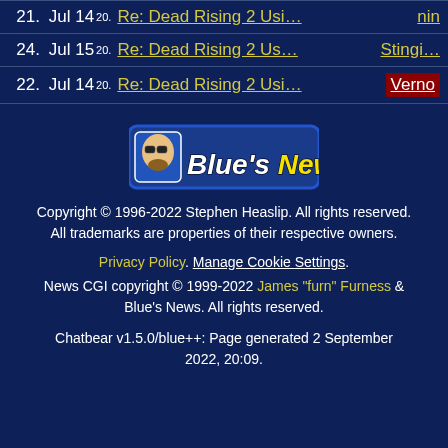21. Jul 14 20. Re: Dead Rising 2 Usi… nin
24. Jul 15 20. Re: Dead Rising 2 Us… Stingi…
22. Jul 14 20. Re: Dead Rising 2 Usi… Verno
[Figure (logo): Blue's News logo with stylized face icon and yellow/white italic text on dark blue background]
Copyright © 1996-2022 Stephen Heaslip. All rights reserved.
All trademarks are properties of their respective owners.
Privacy Policy. Manage Cookie Settings.
News CGI copyright © 1999-2022 James "furn" Furness & Blue's News. All rights reserved.
Chatbear v1.5.0/blue++: Page generated 2 September 2022, 20:09.